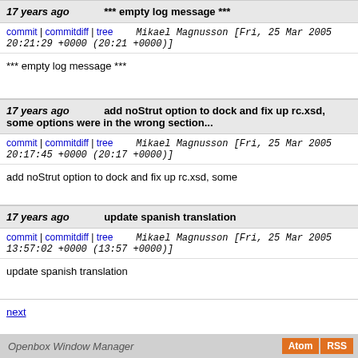17 years ago *** empty log message ***
commit | commitdiff | tree   Mikael Magnusson [Fri, 25 Mar 2005 20:21:29 +0000 (20:21 +0000)]
*** empty log message ***
17 years ago   add noStrut option to dock and fix up rc.xsd, some options were in the wrong section...
commit | commitdiff | tree   Mikael Magnusson [Fri, 25 Mar 2005 20:17:45 +0000 (20:17 +0000)]
add noStrut option to dock and fix up rc.xsd, some
17 years ago   update spanish translation
commit | commitdiff | tree   Mikael Magnusson [Fri, 25 Mar 2005 13:57:02 +0000 (13:57 +0000)]
update spanish translation
next
Openbox Window Manager   Atom  RSS